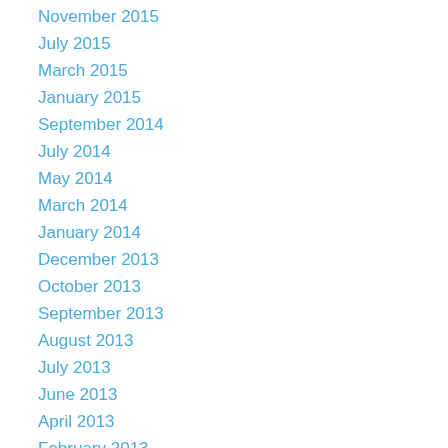November 2015
July 2015
March 2015
January 2015
September 2014
July 2014
May 2014
March 2014
January 2014
December 2013
October 2013
September 2013
August 2013
July 2013
June 2013
April 2013
February 2013
January 2013
December 2012
November 2012